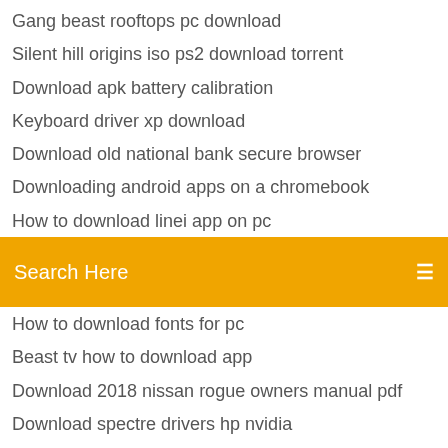Gang beast rooftops pc download
Silent hill origins iso ps2 download torrent
Download apk battery calibration
Keyboard driver xp download
Download old national bank secure browser
Downloading android apps on a chromebook
How to download linei app on pc
[Figure (screenshot): Orange search bar with text 'Search Here' and a menu icon on the right]
How to download fonts for pc
Beast tv how to download app
Download 2018 nissan rogue owners manual pdf
Download spectre drivers hp nvidia
Photoshop new version download
Music library download torrent
203 kochi movie download torrent
Best wifi booster free download for android
Download file torrent movie
Msi gt620 driver download